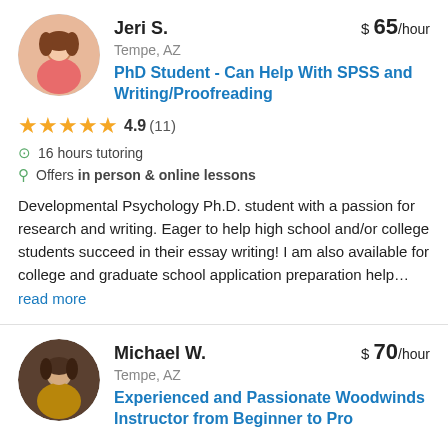Jeri S. — $65/hour — Tempe, AZ
PhD Student - Can Help With SPSS and Writing/Proofreading
4.9 (11)
16 hours tutoring
Offers in person & online lessons
Developmental Psychology Ph.D. student with a passion for research and writing. Eager to help high school and/or college students succeed in their essay writing! I am also available for college and graduate school application preparation help... read more
Michael W. — $70/hour — Tempe, AZ
Experienced and Passionate Woodwinds Instructor from Beginner to Pro